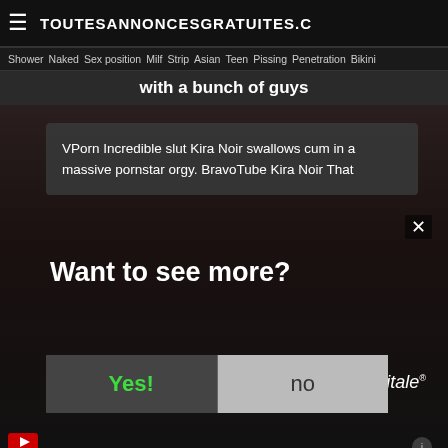TOUTESANNONCESGRATUITES.C
Shower  Naked  Sex position  Milf  Strip  Asian  Teen  Pissing  Penetration  Bikini
with a bunch of guys
VPorn Incredible slut Kira Noir swallows cum in a massive pornstar orgy. BravoTube Kira Noir That
Want to see more?
Yes!
no
Yonitale